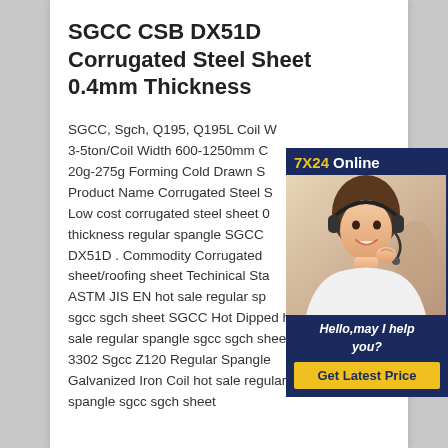SGCC CSB DX51D Corrugated Steel Sheet 0.4mm Thickness
SGCC, Sgch, Q195, Q195L Coil Weight 3-5ton/Coil Width 600-1250mm Coating 20g-275g Forming Cold Drawn Steel Product Name Corrugated Steel Sheet Low cost corrugated steel sheet 0.4mm thickness regular spangle SGCC DX51D . Commodity Corrugated sheet/roofing sheet Techinical Standard ASTM JIS EN hot sale regular spangle sgcc sgch sheet SGCC Hot Dipped hot sale regular spangle sgcc sgch sheetJis G 3302 Sgcc Z120 Regular Spangle Galvanized Iron Coil hot sale regular spangle sgcc sgch sheet
[Figure (illustration): Customer service chat widget with '7X24 Online' header, photo of woman with headset, 'Hello,may I help you?' text, and 'Get Latest Price' button]